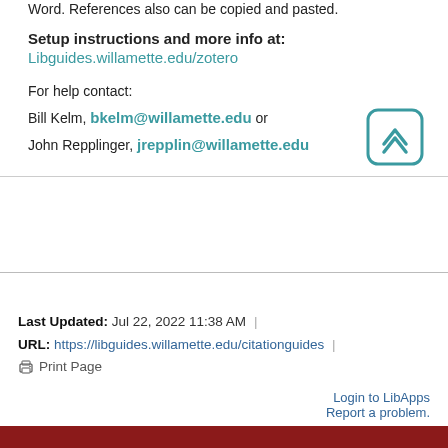Word. References also can be copied and pasted.
Setup instructions and more info at: Libguides.willamette.edu/zotero
For help contact:
Bill Kelm, bkelm@willamette.edu or
John Repplinger, jrepplin@willamette.edu
Last Updated: Jul 22, 2022 11:38 AM | URL: https://libguides.willamette.edu/citationguides | Print Page
Login to LibApps
Report a problem.